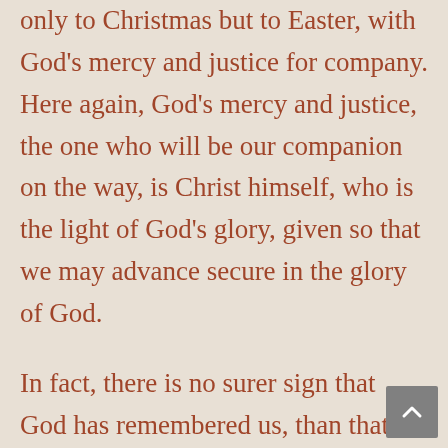only to Christmas but to Easter, with God's mercy and justice for company. Here again, God's mercy and justice, the one who will be our companion on the way, is Christ himself, who is the light of God's glory, given so that we may advance secure in the glory of God.
In fact, there is no surer sign that God has remembered us, than that he has commanded that the age-old depths between God and man be filled to level ground, so that Christ can lead